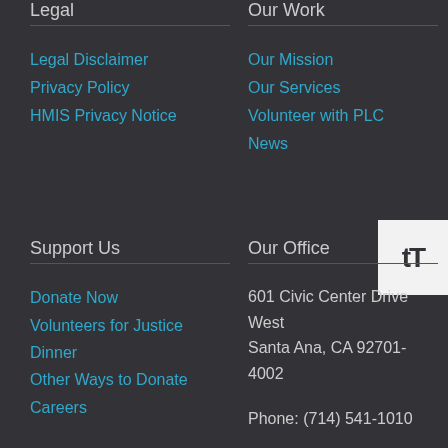Legal
Legal Disclaimer
Privacy Policy
HMIS Privacy Notice
Our Work
Our Mission
Our Services
Volunteer with PLC
News
Support Us
Donate Now
Volunteers for Justice Dinner
Other Ways to Donate
Careers
Our Office
601 Civic Center Drive West
Santa Ana, CA 92701-4002

Phone: (714) 541-1010